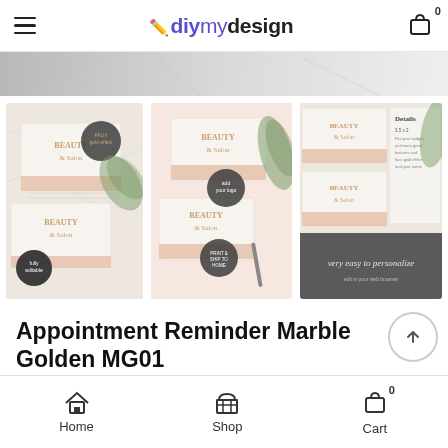diymydesign
[Figure (photo): Hero banner image — partial view of marble appointment reminder cards]
[Figure (photo): Thumbnail 1: Marble golden appointment reminder cards with gold effect badge and eucalyptus leaves]
[Figure (photo): Thumbnail 2: Marble appointment reminder cards on pink background with logo badge and plant leaf]
[Figure (photo): Thumbnail 3: Details panel showing card specs, 'very easy to personalize' text on grey background]
Appointment Reminder Marble Golden MG01
$5.99
Marble Effect Booking Reminder Card Template
Home  Shop  Cart